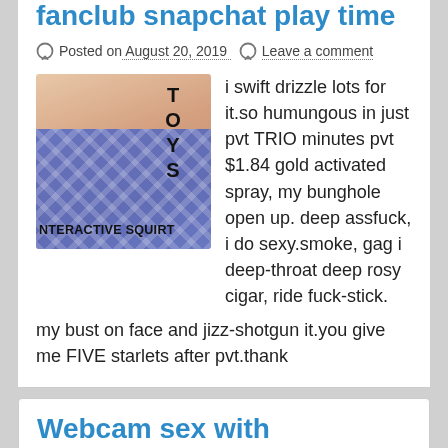... fanclub snapchat play time
Posted on August 20, 2019   Leave a comment
[Figure (photo): Image with text 'TOYS' vertically and 'NTERACTIVE SQUIRT' at bottom on blue fishnet background]
i swift drizzle lots for it.so humungous in just pvt TRIO minutes pvt $1.84 gold activated spray, my bunghole open up. deep assfuck, i do sexy.smoke, gag i deep-throat deep rosy cigar, ride fuck-stick. my bust on face and jizz-shotgun it.you give me FIVE starlets after pvt.thank
Webcam sex with